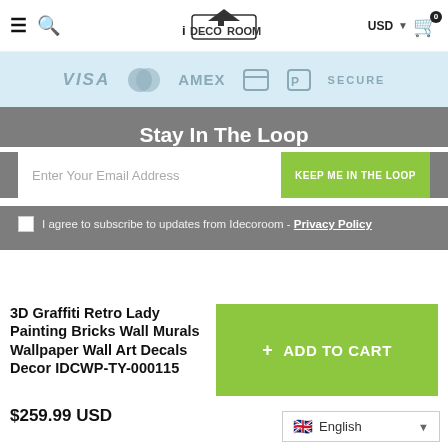iDECOROOM — USD — Cart (0)
[Figure (other): Payment method logos: VISA, Mastercard, AMEX, PayPal, and SECURE badge on light blue strip]
Stay In The Loop
Enter Your Email Address — KEEP ME IN THE LOOP
I agree to subscribe to updates from Idecoroom - Privacy Policy
3D Graffiti Retro Lady Painting Bricks Wall Murals Wallpaper Wall Art Decals Decor IDCWP-TY-000115
+ ADD TO CART
$259.99 USD
English